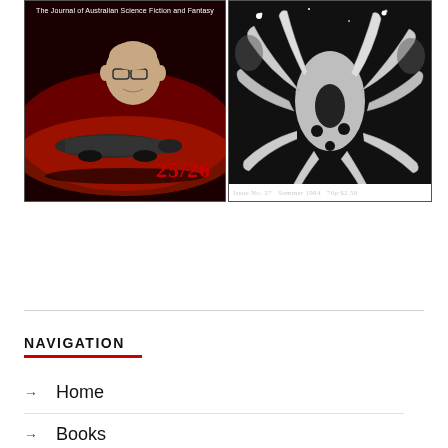[Figure (illustration): Cover of magazine issue 25/26 - The Journal of Australian Science Fiction and Fantasy. Red/dark background with a man's face and a futuristic vehicle. Number 25/26 in red text at bottom right.]
[Figure (illustration): Cover of magazine issue No. 27, Summer 1984, 70p-$2.50. Black and white illustration of tentacled creature (Lovecraftian) with stars. Text at bottom: Issue No. 27  Summer 1984  70p-$2.50]
NAVIGATION
Home
Books